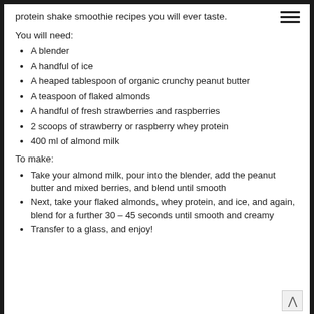protein shake smoothie recipes you will ever taste.
You will need:
A blender
A handful of ice
A heaped tablespoon of organic crunchy peanut butter
A teaspoon of flaked almonds
A handful of fresh strawberries and raspberries
2 scoops of strawberry or raspberry whey protein
400 ml of almond milk
To make:
Take your almond milk, pour into the blender, add the peanut butter and mixed berries, and blend until smooth
Next, take your flaked almonds, whey protein, and ice, and again, blend for a further 30 – 45 seconds until smooth and creamy
Transfer to a glass, and enjoy!